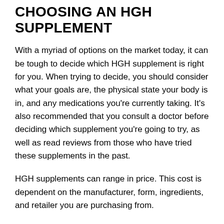CHOOSING AN HGH SUPPLEMENT
With a myriad of options on the market today, it can be tough to decide which HGH supplement is right for you. When trying to decide, you should consider what your goals are, the physical state your body is in, and any medications you’re currently taking. It’s also recommended that you consult a doctor before deciding which supplement you’re going to try, as well as read reviews from those who have tried these supplements in the past.
HGH supplements can range in price. This cost is dependent on the manufacturer, form, ingredients, and retailer you are purchasing from.
CONCLUSION
Overall, HGH supplements won’t increase muscle mass on